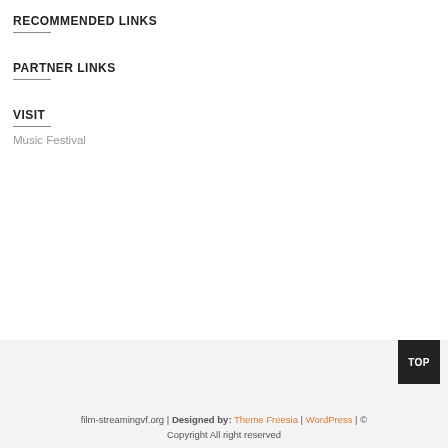RECOMMENDED LINKS
PARTNER LINKS
VISIT
Music Festival
film-streamingvf.org | Designed by: Theme Freesia | WordPress | © Copyright All right reserved